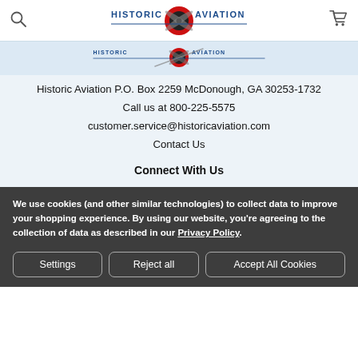Historic Aviation (logo with search and cart icons)
[Figure (logo): Historic Aviation logo repeated twice: top bar logo and smaller secondary logo below, with red circle and propeller graphic and blue text]
Historic Aviation P.O. Box 2259 McDonough, GA 30253-1732
Call us at 800-225-5575
customer.service@historicaviation.com
Contact Us
Connect With Us
We use cookies (and other similar technologies) to collect data to improve your shopping experience. By using our website, you're agreeing to the collection of data as described in our Privacy Policy.